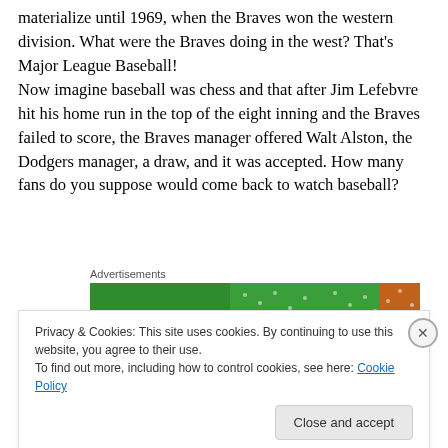materialize until 1969, when the Braves won the western division. What were the Braves doing in the west? That's Major League Baseball! Now imagine baseball was chess and that after Jim Lefebvre hit his home run in the top of the eight inning and the Braves failed to score, the Braves manager offered Walt Alston, the Dodgers manager, a draw, and it was accepted. How many fans do you suppose would come back to watch baseball?
[Figure (other): Green advertisement banner]
Privacy & Cookies: This site uses cookies. By continuing to use this website, you agree to their use.
To find out more, including how to control cookies, see here: Cookie Policy